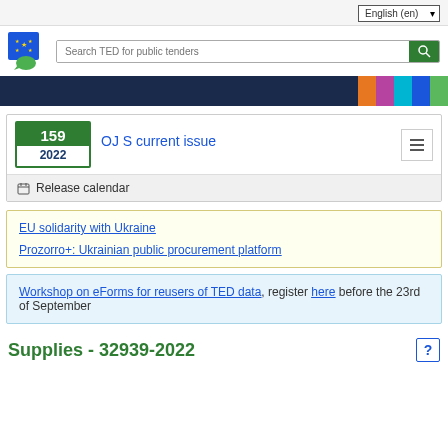English (en)
[Figure (logo): EU TED logo - blue square with EU stars and green speech bubble]
Search TED for public tenders
159
2022
OJ S current issue
Release calendar
EU solidarity with Ukraine
Prozorro+: Ukrainian public procurement platform
Workshop on eForms for reusers of TED data, register here before the 23rd of September
Supplies - 32939-2022